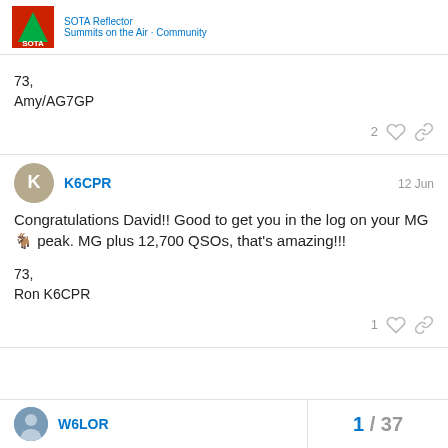SOTA Reflector forum header with logo
73,
Amy/AG7GP
2 [likes] [link]
K6CPR  12 Jun
Congratulations David!! Good to get you in the log on your MG 🐐 peak. MG plus 12,700 QSOs, that's amazing!!!
73,
Ron K6CPR
1 [likes] [link]
W6LOR  1 / 37